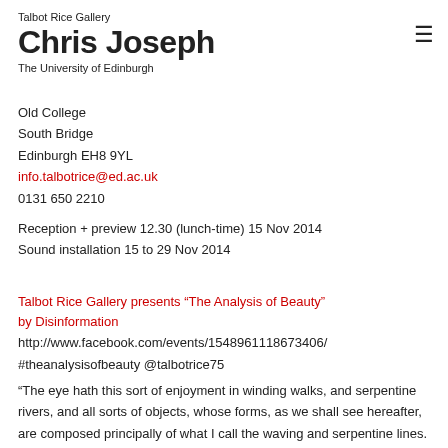Talbot Rice Gallery
Chris Joseph
The University of Edinburgh
Old College
South Bridge
Edinburgh EH8 9YL
info.talbotrice@ed.ac.uk
0131 650 2210
Reception + preview 12.30 (lunch-time) 15 Nov 2014
Sound installation 15 to 29 Nov 2014
Talbot Rice Gallery presents “The Analysis of Beauty” by Disinformation
http://www.facebook.com/events/1548961118673406/
#theanalysisofbeauty @talbotrice75
“The eye hath this sort of enjoyment in winding walks, and serpentine rivers, and all sorts of objects, whose forms, as we shall see hereafter, are composed principally of what I call the waving and serpentine lines. Intricacy in form, therefore, I shall